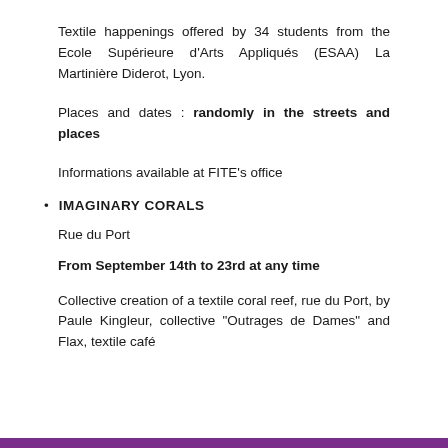Textile happenings offered by 34 students from the Ecole Supérieure d’Arts Appliqués (ESAA) La Martinière Diderot, Lyon.
Places and dates : randomly in the streets and places
Informations available at FITE’s office
IMAGINARY CORALS
Rue du Port
From September 14th to 23rd at any time
Collective creation of a textile coral reef, rue du Port, by Paule Kingleur, collective “Outrages de Dames” and Flax, textile café